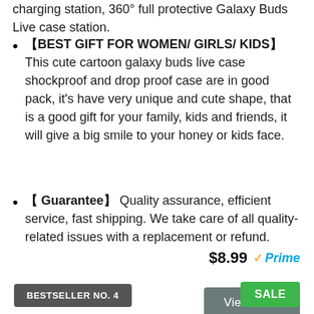charging station, 360° full protective Galaxy Buds Live case station.
【BEST GIFT FOR WOMEN/ GIRLS/ KIDS】This cute cartoon galaxy buds live case shockproof and drop proof case are in good pack, it's have very unique and cute shape, that is a good gift for your family, kids and friends, it will give a big smile to your honey or kids face.
【 Guarantee】 Quality assurance, efficient service, fast shipping. We take care of all quality-related issues with a replacement or refund.
$8.99 Prime
View Here
BESTSELLER NO. 4
SALE